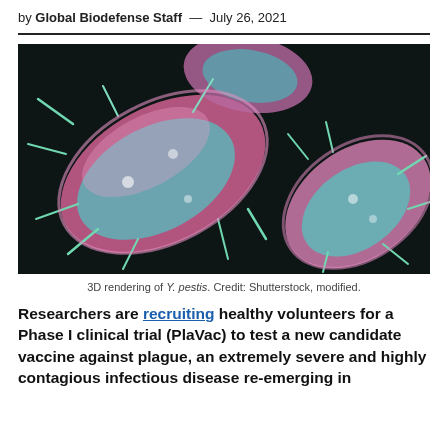by Global Biodefense Staff — July 26, 2021
[Figure (photo): 3D rendering of Y. pestis bacteria, colorized electron microscopy image showing pink/purple rod-shaped bacteria with teal/green projections on a dark background.]
3D rendering of Y. pestis. Credit: Shutterstock, modified.
Researchers are recruiting healthy volunteers for a Phase I clinical trial (PlaVac) to test a new candidate vaccine against plague, an extremely severe and highly contagious infectious disease re-emerging in parts of the world.